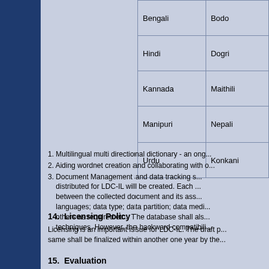| Bengali | Bodo |
| Hindi | Dogri |
| Kannada | Maithili |
| Manipuri | Nepali |
| Urdu | Konkani |
1. Multilingual multi directional dictionary - an ong...
2. Aiding wordnet creation and collaborating with o...
3. Document Management and data tracking s... distributed for LDC-IL will be created. Each ... between the collected document and its ass... languages; data type; data partition; data medi... others as required etc., The database shall als... techniques. However, the backward compatibili...
14.  Licensing Policy
Licensing is an important issue for LDC-IL. The draft p... same shall be finalized within another one year by the...
15.  Evaluation